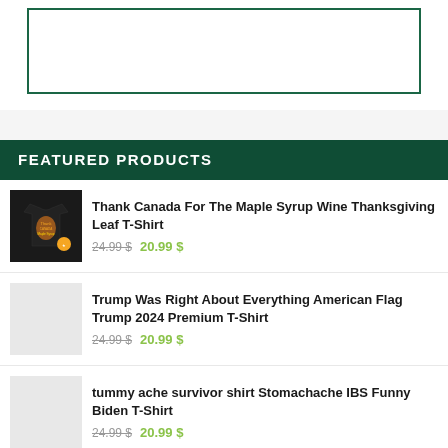[Figure (other): White box with green border at top of page]
FEATURED PRODUCTS
[Figure (photo): Black t-shirt with Canadian maple syrup wine Thanksgiving design]
Thank Canada For The Maple Syrup Wine Thanksgiving Leaf T-Shirt
24.99 $ 20.99 $
[Figure (photo): Light gray placeholder image for Trump t-shirt]
Trump Was Right About Everything American Flag Trump 2024 Premium T-Shirt
24.99 $ 20.99 $
[Figure (photo): Light gray placeholder image for Biden t-shirt]
tummy ache survivor shirt Stomachache IBS Funny Biden T-Shirt
24.99 $ 20.99 $